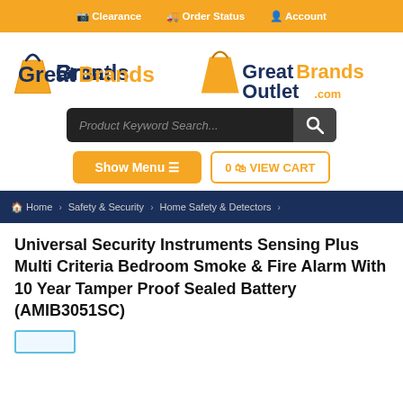Clearance   Order Status   Account
[Figure (logo): GreatBrandsOutlet.com logo with orange shopping bag icon]
[Figure (screenshot): Product Keyword Search bar with dark background and search icon]
Show Menu ≡   0 🛒 VIEW CART
🏠 Home > Safety & Security > Home Safety & Detectors >
Universal Security Instruments Sensing Plus Multi Criteria Bedroom Smoke & Fire Alarm With 10 Year Tamper Proof Sealed Battery (AMIB3051SC)